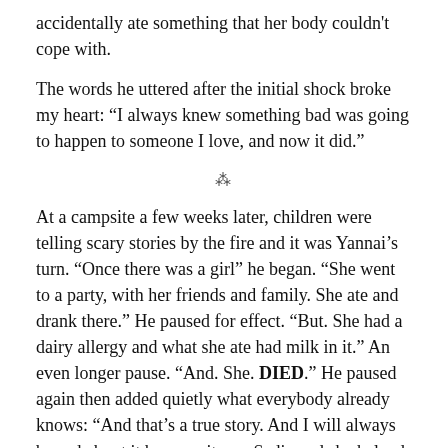accidentally ate something that her body couldn't cope with.
The words he uttered after the initial shock broke my heart: “I always knew something bad was going to happen to someone I love, and now it did.”
⁂
At a campsite a few weeks later, children were telling scary stories by the fire and it was Yannai’s turn. “Once there was a girl” he began. “She went to a party, with her friends and family. She ate and drank there.” He paused for effect. “But. She had a dairy allergy and what she ate had milk in it.” An even longer pause. “And. She. DIED.” He paused again then added quietly what everybody already knows: “And that’s a true story. And I will always be sad about it because it was Sadie and she helped me speak.”